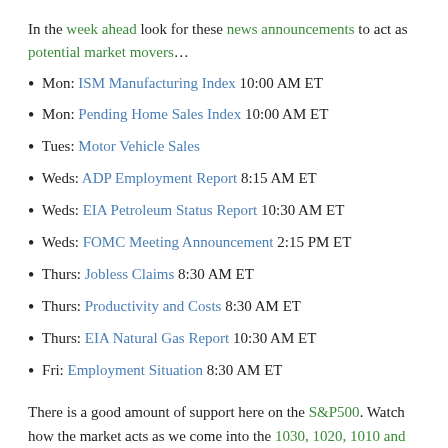In the week ahead look for these news announcements to act as potential market movers…
Mon: ISM Manufacturing Index 10:00 AM ET
Mon: Pending Home Sales Index 10:00 AM ET
Tues: Motor Vehicle Sales
Weds: ADP Employment Report 8:15 AM ET
Weds: EIA Petroleum Status Report 10:30 AM ET
Weds: FOMC Meeting Announcement 2:15 PM ET
Thurs: Jobless Claims 8:30 AM ET
Thurs: Productivity and Costs 8:30 AM ET
Thurs: EIA Natural Gas Report 10:30 AM ET
Fri: Employment Situation 8:30 AM ET
There is a good amount of support here on the S&P500. Watch how the market acts as we come into the 1030, 1020, 1010 and 1000 levels. If we get a close below these levels we want to…